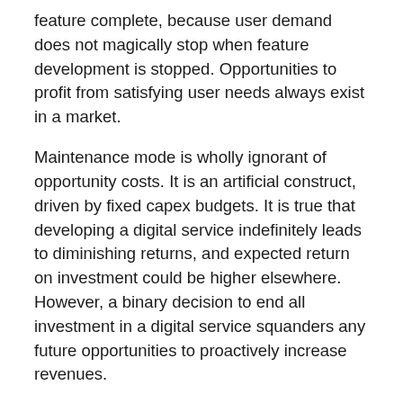feature complete, because user demand does not magically stop when feature development is stopped. Opportunities to profit from satisfying user needs always exist in a market.
Maintenance mode is wholly ignorant of opportunity costs. It is an artificial construct, driven by fixed capex budgets. It is true that developing a digital service indefinitely leads to diminishing returns, and expected return on investment could be higher elsewhere. However, a binary decision to end all investment in a digital service squanders any future opportunities to proactively increase revenues.
Opportunity costs are unmanageable with long deployment times, because a market can move faster than an overworked operations team. The cost of delay can be enormous if days or weeks of effort are needed to build, test, and deploy. Critical opportunities can be